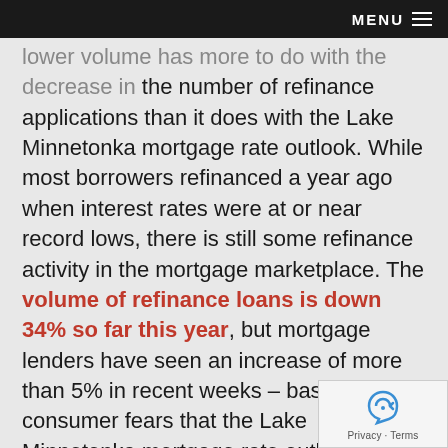MENU
lower volume has more to do with the decrease in the number of refinance applications than it does with the Lake Minnetonka mortgage rate outlook. While most borrowers refinanced a year ago when interest rates were at or near record lows, there is still some refinance activity in the mortgage marketplace. The volume of refinance loans is down 34% so far this year, but mortgage lenders have seen an increase of more than 5% in recent weeks – based on consumer fears that the Lake Minnetonka mortgage rate outlook might include higher interest rates moving forward.
Some analysts attribute the rush to refinance recent remarks made by key Federal Reserve